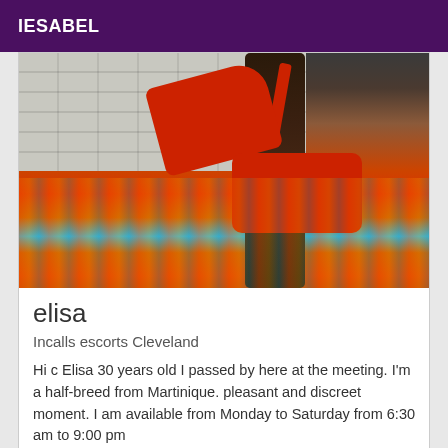IESABEL
[Figure (photo): Close-up photo of legs wearing red high-heel platform shoes on colorful orange and blue African-print fabric, with white brick wall in background]
elisa
Incalls escorts Cleveland
Hi c Elisa 30 years old I passed by here at the meeting. I'm a half-breed from Martinique. pleasant and discreet moment. I am available from Monday to Saturday from 6:30 am to 9:00 pm